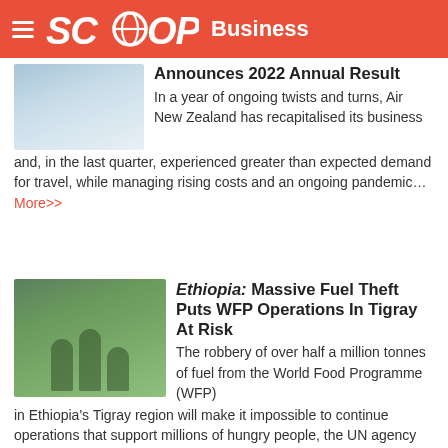SCOOP Business
Announces 2022 Annual Result
In a year of ongoing twists and turns, Air New Zealand has recapitalised its business and, in the last quarter, experienced greater than expected demand for travel, while managing rising costs and an ongoing pandemic... More>>
Ethiopia: Massive Fuel Theft Puts WFP Operations In Tigray At Risk
The robbery of over half a million tonnes of fuel from the World Food Programme (WFP) in Ethiopia's Tigray region will make it impossible to continue operations that support millions of hungry people, the UN agency said on Thursday... More>>